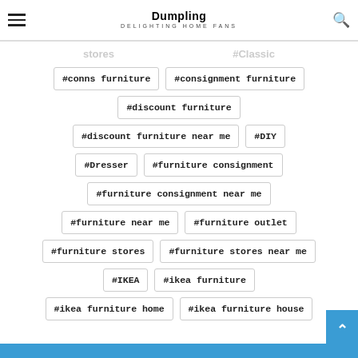Dumpling DELIGHTING HOME FANS
#conns furniture
#consignment furniture
#discount furniture
#discount furniture near me
#DIY
#Dresser
#furniture consignment
#furniture consignment near me
#furniture near me
#furniture outlet
#furniture stores
#furniture stores near me
#IKEA
#ikea furniture
#ikea furniture home
#ikea furniture house